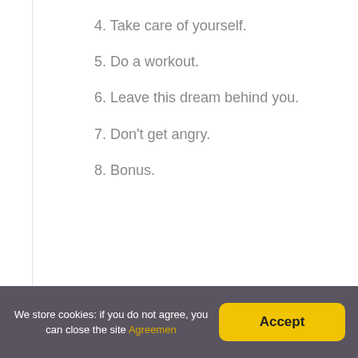4. Take care of yourself.
5. Do a workout.
6. Leave this dream behind you.
7. Don't get angry.
8. Bonus.
Leave a Reply
Your email address will not be published. Required fields are marked *
We store cookies: if you do not agree, you can close the site Agreemen